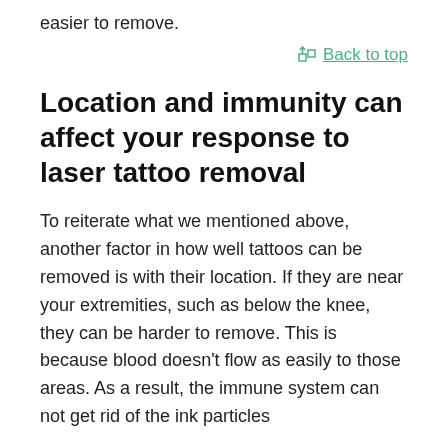easier to remove.
Back to top
Location and immunity can affect your response to laser tattoo removal
To reiterate what we mentioned above, another factor in how well tattoos can be removed is with their location. If they are near your extremities, such as below the knee, they can be harder to remove. This is because blood doesn't flow as easily to those areas. As a result, the immune system can not get rid of the ink particles